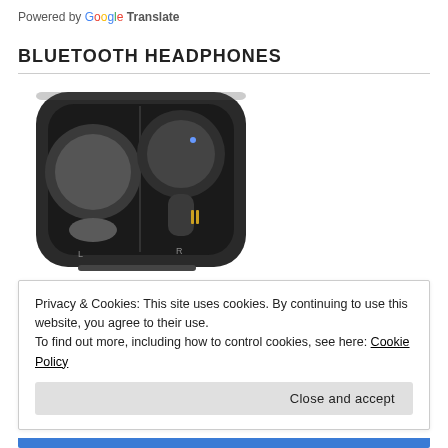Powered by Google Translate
BLUETOOTH HEADPHONES
[Figure (photo): Bluetooth true wireless earbuds in an open charging case, showing two earbuds with ear tips, charging contacts, and the case interior.]
Privacy & Cookies: This site uses cookies. By continuing to use this website, you agree to their use.
To find out more, including how to control cookies, see here: Cookie Policy
Close and accept